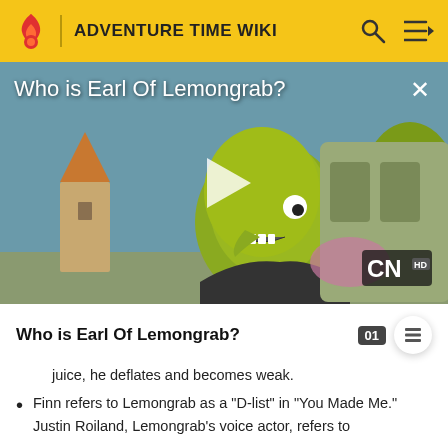ADVENTURE TIME WIKI
[Figure (screenshot): Video thumbnail showing Earl of Lemongrab character from Adventure Time, with play button overlay. Title reads 'Who is Earl Of Lemongrab?' with CN HD logo in bottom right corner.]
Who is Earl Of Lemongrab?
juice, he deflates and becomes weak.
Finn refers to Lemongrab as a "D-list" in "You Made Me." Justin Roiland, Lemongrab's voice actor, refers to